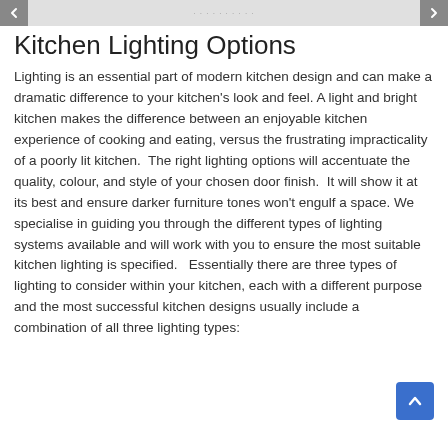Kitchen Lighting Options
Lighting is an essential part of modern kitchen design and can make a dramatic difference to your kitchen’s look and feel. A light and bright kitchen makes the difference between an enjoyable kitchen experience of cooking and eating, versus the frustrating impracticality of a poorly lit kitchen.  The right lighting options will accentuate the quality, colour, and style of your chosen door finish.  It will show it at its best and ensure darker furniture tones won’t engulf a space. We specialise in guiding you through the different types of lighting systems available and will work with you to ensure the most suitable kitchen lighting is specified.   Essentially there are three types of lighting to consider within your kitchen, each with a different purpose and the most successful kitchen designs usually include a combination of all three lighting types: